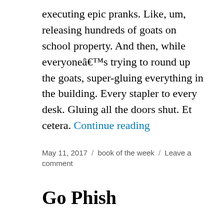executing epic pranks. Like, um, releasing hundreds of goats on school property. And then, while everyoneâ€™s trying to round up the goats, super-gluing everything in the building. Every stapler to every desk. Gluing all the doors shut. Et cetera. Continue reading
May 11, 2017 / book of the week / Leave a comment
Go Phish
So I fell prey to that Google phishing scam yesterday.